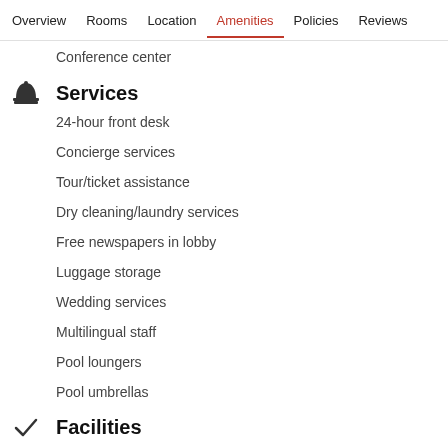Overview  Rooms  Location  Amenities  Policies  Reviews
Conference center
Services
24-hour front desk
Concierge services
Tour/ticket assistance
Dry cleaning/laundry services
Free newspapers in lobby
Luggage storage
Wedding services
Multilingual staff
Pool loungers
Pool umbrellas
Facilities
Built in 2014
Safe-deposit box at front desk